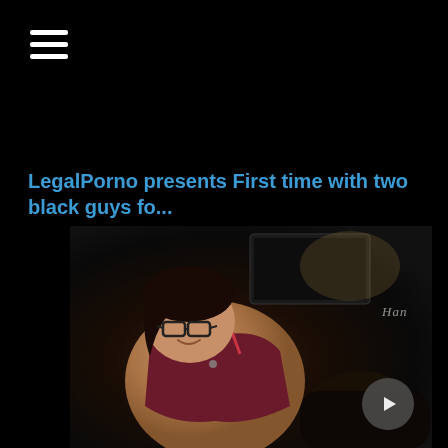[Figure (other): Hamburger menu icon (three horizontal white lines) in top-left corner on black background]
LegalPorno presents First time with two black guys fo...
[Figure (photo): Thumbnail image of adult video content showing a woman with glasses in a dark red/maroon top, with a semi-transparent circular play button overlay in the lower right. Watermark text 'Han' visible in upper right of image.]